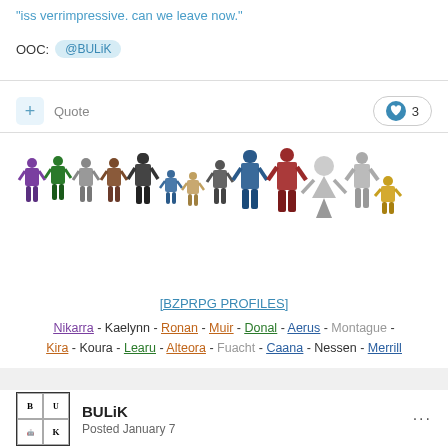"iss verrimpressive. can we leave now."
OOC: @BULiK
+ Quote   ♥ 3
[Figure (illustration): A row of Bionicle-style robot characters in various colors and sizes, lined up from left to right.]
[BZPRPG PROFILES]
Nikarra - Kaelynn - Ronan - Muir - Donal - Aerus - Montague - Kira - Koura - Learu - Alteora - Fuacht - Caana - Nessen - Merrill
BULiK
Posted January 7